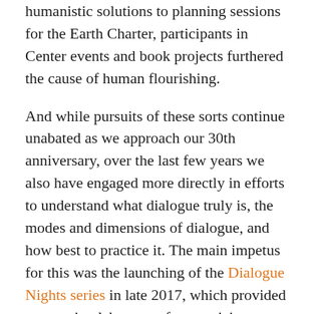humanistic solutions to planning sessions for the Earth Charter, participants in Center events and book projects furthered the cause of human flourishing.
And while pursuits of these sorts continue unabated as we approach our 30th anniversary, over the last few years we also have engaged more directly in efforts to understand what dialogue truly is, the modes and dimensions of dialogue, and how best to practice it. The main impetus for this was the launching of the Dialogue Nights series in late 2017, which provided an ongoing laboratory for practicing dialogue and learning about best practices. The other early landmark was the publishing in 2018 of Peacebuilding Through Dialogue: Education, Human Transformation, and Conflict Resolution (George Mason University Press), edited by Peter N. Stearns. Then, in 2020, we created a special Themes section